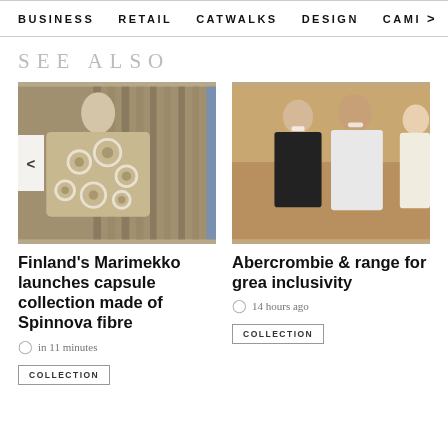BUSINESS   RETAIL   CATWALKS   DESIGN   CAMI >
SEE ALSO
[Figure (photo): Woman wearing beige floral patterned jacket standing in front of stacked materials in a factory setting]
Finland's Marimekko launches capsule collection made of Spinnova fibre
in 11 minutes
COLLECTION
[Figure (photo): Three people smiling outdoors, one woman in black top, one man in white shirt, partially cropped third person]
Abercrombie & range for grea inclusivity
14 hours ago
COLLECTION